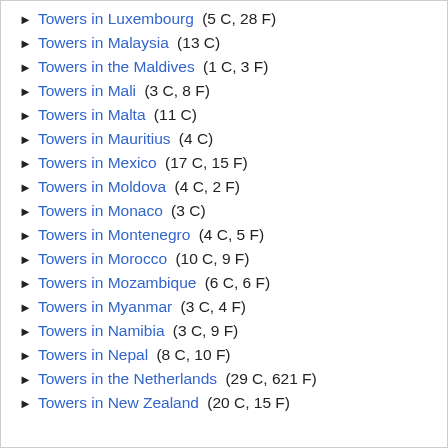Towers in Luxembourg (5 C, 28 F)
Towers in Malaysia (13 C)
Towers in the Maldives (1 C, 3 F)
Towers in Mali (3 C, 8 F)
Towers in Malta (11 C)
Towers in Mauritius (4 C)
Towers in Mexico (17 C, 15 F)
Towers in Moldova (4 C, 2 F)
Towers in Monaco (3 C)
Towers in Montenegro (4 C, 5 F)
Towers in Morocco (10 C, 9 F)
Towers in Mozambique (6 C, 6 F)
Towers in Myanmar (3 C, 4 F)
Towers in Namibia (3 C, 9 F)
Towers in Nepal (8 C, 10 F)
Towers in the Netherlands (29 C, 621 F)
Towers in New Zealand (20 C, 15 F)